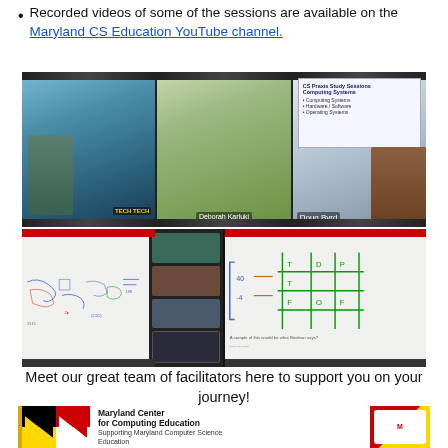Recorded videos of some of the sessions are available on the Maryland CS Education YouTube channel.
[Figure (screenshot): Two rows of video conference screenshots showing CS Praxis Study Sessions. Top row: three panels with participants including Deborah Karluki and Doug Byrd, with a slide showing 'CS Praxis Study Sessions Computing Systems'. Bottom row: two panels showing digital whiteboard with handwritten notes and diagrams, with participant sidebar visible.]
Meet our great team of facilitators here to support you on your journey!
[Figure (logo): Maryland Center for Computing Education logo card with Maryland flag colors (black, gold, red). Text reads: 'Maryland Center for Computing Education - Supporting Maryland Computer Science Education']